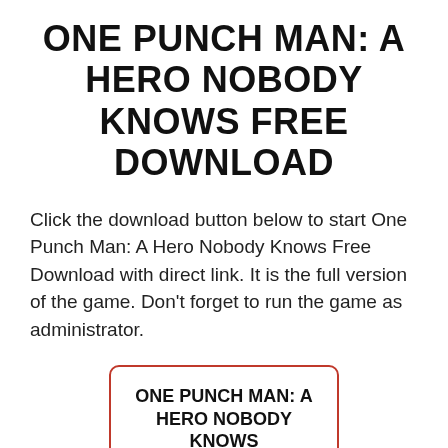ONE PUNCH MAN: A HERO NOBODY KNOWS FREE DOWNLOAD
Click the download button below to start One Punch Man: A Hero Nobody Knows Free Download with direct link. It is the full version of the game. Don’t forget to run the game as administrator.
ONE PUNCH MAN: A HERO NOBODY KNOWS
SIZE: 6.75 GB